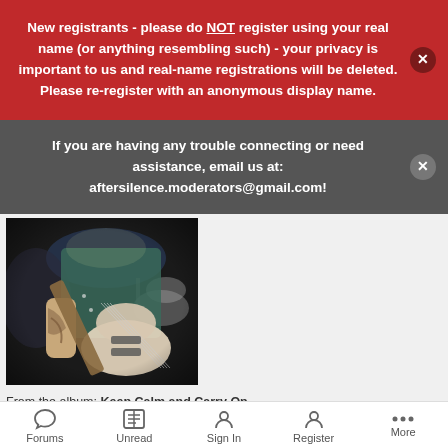New registrants - please do NOT register using your real name (or anything resembling such) - your privacy is important to us and real-name registrations will be deleted. Please re-register with an anonymous display name.
If you are having any trouble connecting or need assistance, email us at: aftersilence.moderators@gmail.com!
[Figure (photo): A person playing guitar at what appears to be a concert or music performance, with drums visible in the background. The performer has tattoos on their arm.]
From the album: Keep Calm and Carry On
Forums | Unread | Sign In | Register | More